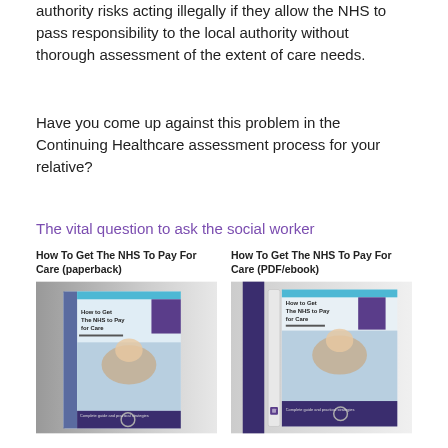authority risks acting illegally if they allow the NHS to pass responsibility to the local authority without thorough assessment of the extent of care needs.
Have you come up against this problem in the Continuing Healthcare assessment process for your relative?
The vital question to ask the social worker
[Figure (illustration): Two book product images side by side: 'How To Get The NHS To Pay For Care (paperback)' and 'How To Get The NHS To Pay For Care (PDF/ebook)']